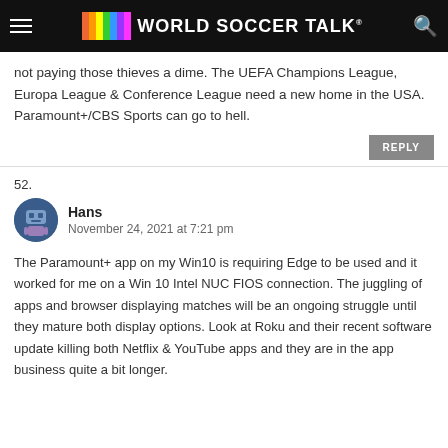World Soccer Talk
not paying those thieves a dime. The UEFA Champions League, Europa League & Conference League need a new home in the USA. Paramount+/CBS Sports can go to hell.
REPLY
52.
Hans
November 24, 2021 at 7:21 pm
The Paramount+ app on my Win10 is requiring Edge to be used and it worked for me on a Win 10 Intel NUC FIOS connection. The juggling of apps and browser displaying matches will be an ongoing struggle until they mature both display options. Look at Roku and their recent software update killing both Netflix & YouTube apps and they are in the app business quite a bit longer.